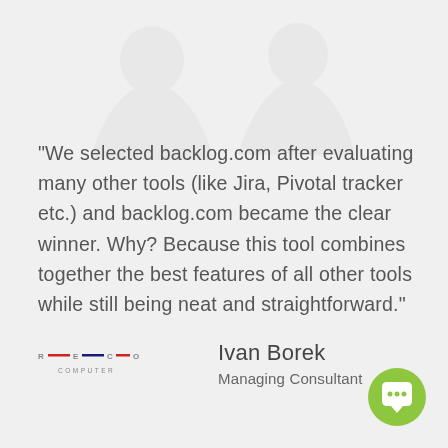“We selected backlog.com after evaluating many other tools (like Jira, Pivotal tracker etc.) and backlog.com became the clear winner. Why? Because this tool combines together the best features of all other tools while still being neat and straightforward.”
[Figure (logo): REDCO COMPUTER logo with colored horizontal dashes between letters]
Ivan Borek
Managing Consultant
[Figure (illustration): Green circular chat/messenger button icon with speech bubble and three dots]